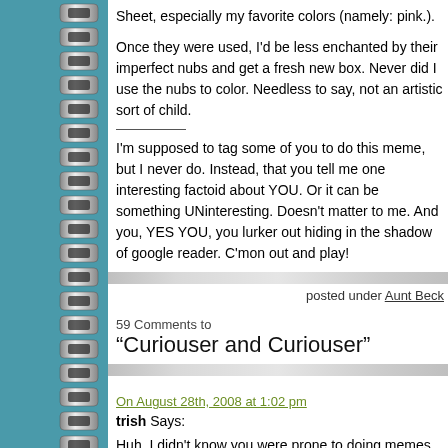Sheet, especially my favorite colors (namely: pink.).
Once they were used, I'd be less enchanted by their imperfect nubs and get a fresh new box. Never did I use the nubs to color. Needless to say, not an artistic sort of child.
I'm supposed to tag some of you to do this meme, but I never do. Instead, that you tell me one interesting factoid about YOU. Or it can be something UNinteresting. Doesn't matter to me. And you, YES YOU, you lurker out hiding in the shadow of google reader. C'mon out and play!
posted under Aunt Beck
59 Comments to
“Curiouser and Curiouser”
On August 28th, 2008 at 1:02 pm
trish Says:
Huh. I didn't know you were prone to doing memes. Vewy intewesting.